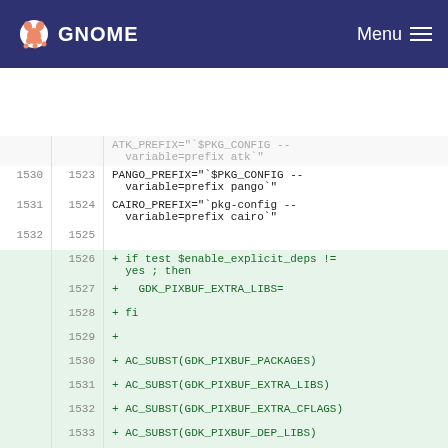GNOME Menu
[Figure (screenshot): GNOME diff/code viewer showing lines 1530-1537 with added lines highlighted in green. Lines show shell script variables: PANGO_PREFIX, CAIRO_PREFIX, and added lines for GDK_PIXBUF configuration and AC_SUBST calls.]